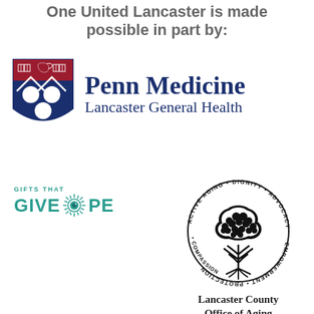One United Lancaster is made possible in part by:
[Figure (logo): Penn Medicine Lancaster General Health logo with Penn shield and text]
[Figure (logo): Gifts That Give Hope logo with teal sunburst eye design]
[Figure (logo): Lancaster County Office of Aging circular seal with tree and words: Active Aging, Dignity, Advocacy, Protection, Empowerment, Compassion]
Lancaster County Office of Aging